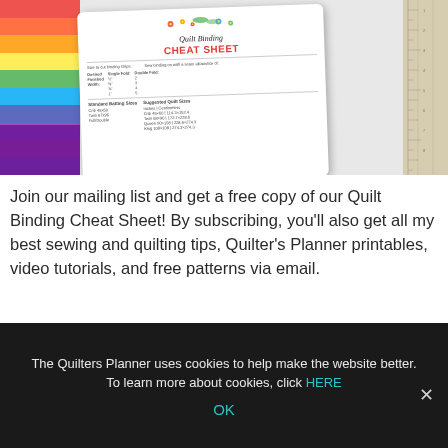[Figure (photo): Photo of a Quilt Binding Cheat Sheet document surrounded by colorful fabric swatches on the left and a ruler on the right. The cheat sheet has floral decorations and shows a table with binding strip sizes and suggested quilt sizes.]
Join our mailing list and get a free copy of our Quilt Binding Cheat Sheet! By subscribing, you'll also get all my best sewing and quilting tips, Quilter's Planner printables, video tutorials, and free patterns via email.
First Name
The Quilters Planner uses cookies to help make the website better. To learn more about cookies, click HERE
OK